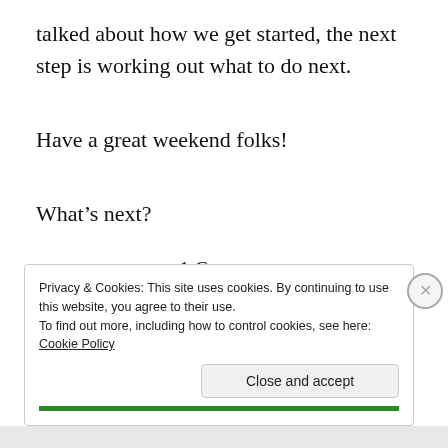talked about how we get started, the next step is working out what to do next.
Have a great weekend folks!
What’s next?
1 Comment
Privacy & Cookies: This site uses cookies. By continuing to use this website, you agree to their use.
To find out more, including how to control cookies, see here: Cookie Policy